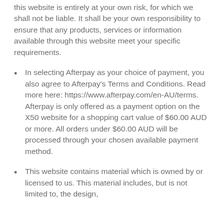this website is entirely at your own risk, for which we shall not be liable. It shall be your own responsibility to ensure that any products, services or information available through this website meet your specific requirements.
In selecting Afterpay as your choice of payment, you also agree to Afterpay's Terms and Conditions. Read more here: https://www.afterpay.com/en-AU/terms. Afterpay is only offered as a payment option on the X50 website for a shopping cart value of $60.00 AUD or more. All orders under $60.00 AUD will be processed through your chosen available payment method.
This website contains material which is owned by or licensed to us. This material includes, but is not limited to, the design,